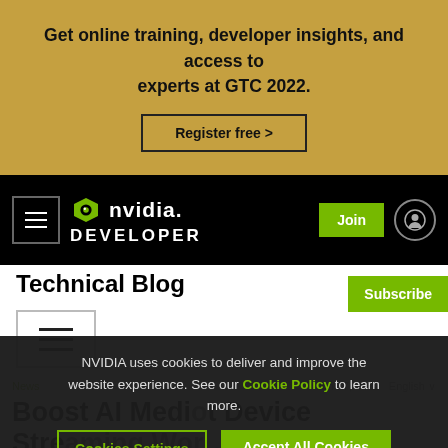Get online training, developer insights, and access to experts at GTC 2022.
Register free >
[Figure (logo): NVIDIA Developer logo with hamburger menu, Join button, and user icon on black navbar]
Technical Blog
[Figure (other): Hamburger menu icon with three lines in a bordered box]
NVIDIA uses cookies to deliver and improve the website experience. See our Cookie Policy to learn more.
Cookies Settings   Accept All Cookies
News   Jun 17, 2022   English
Boost AI Medical Device Streaming Wor...he Clara Holoscan SDK